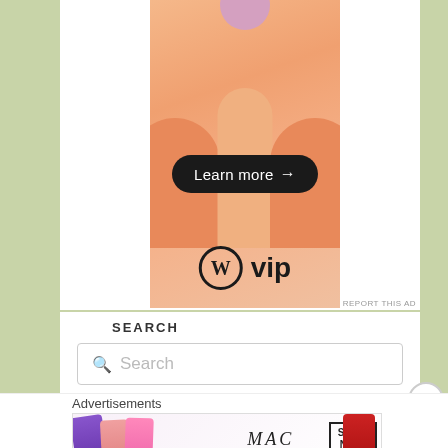[Figure (illustration): WordPress VIP advertisement with orange gradient background, abstract arch shapes, a 'Learn more →' button, and the WordPress VIP logo at the bottom]
SEARCH
[Figure (screenshot): Search input box with placeholder text 'Search' and a magnifying glass icon]
Advertisements
[Figure (illustration): MAC cosmetics advertisement showing colorful lipsticks, the MAC brand name in italic, a SHOP NOW box, and a red lipstick on the right]